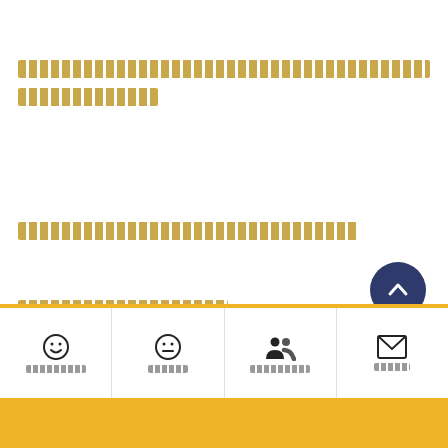[redacted/obscured text block - two lines]
[redacted/obscured text block - one line]
[redacted/obscured text block - one line short]
[Figure (other): Scroll-to-top circular button with upward chevron, dark navy blue background]
Navigation bar with four items: smiley face icon, neutral face icon, group/people icon, envelope/mail icon, each with redacted label text below. Yellow top border. Yellow bottom strip.